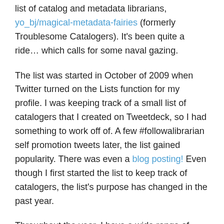list of catalog and metadata librarians, yo_bj/magical-metadata-fairies (formerly Troublesome Catalogers). It's been quite a ride… which calls for some naval gazing.
The list was started in October of 2009 when Twitter turned on the Lists function for my profile. I was keeping track of a small list of catalogers that I created on Tweetdeck, so I had something to work off of. A few #followalibrarian self promotion tweets later, the list gained popularity. There was even a blog posting! Even though I first started the list to keep track of catalogers, the list's purpose has changed in the past year.
Throughout the year, I have a wide range of activity on the list. There have plenty of bitch sessions about bibliographic utility software, standards, rules, and the latest publication/post that reinforces the cataloger stereotype. That is to be expected, and one of the purposes of the list is to bring like-minded folks together, so, for many people, it's good to rant about something very specific to an audience who gets what you're ranting about. I have seen many more instances of catalogers